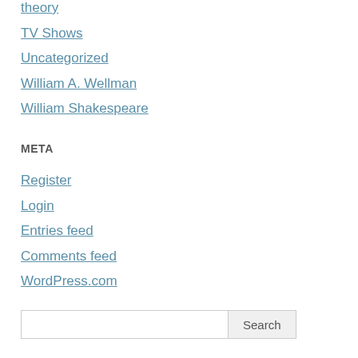theory
TV Shows
Uncategorized
William A. Wellman
William Shakespeare
META
Register
Login
Entries feed
Comments feed
WordPress.com
Search